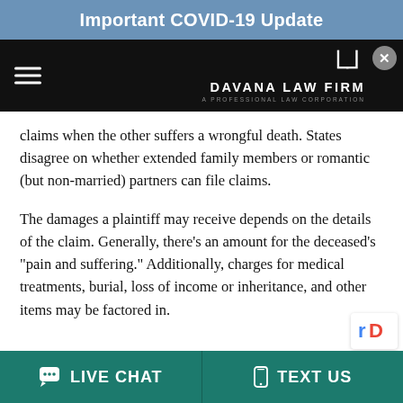Important COVID-19 Update
[Figure (logo): Davana Law Firm logo with hamburger menu and close button on dark navigation bar]
claims when the other suffers a wrongful death. States disagree on whether extended family members or romantic (but non-married) partners can file claims.
The damages a plaintiff may receive depends on the details of the claim. Generally, there's an amount for the deceased's "pain and suffering." Additionally, charges for medical treatments, burial, loss of income or inheritance, and other items may be factored in.
LIVE CHAT   TEXT US